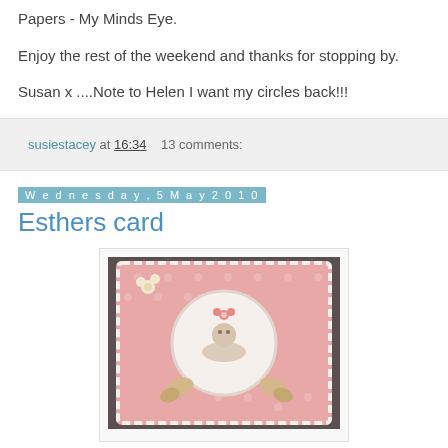Papers - My Minds Eye.
Enjoy the rest of the weekend and thanks for stopping by.
Susan x ....Note to Helen I want my circles back!!!
susiestacey at 16:34   13 comments:
Wednesday, 5 May 2010
Esthers card
[Figure (photo): A handmade greeting card with pink polka dot background, scalloped white border, a central circular vignette showing a baby animal in a hammock with butterflies, and flower embellishments in the corners.]